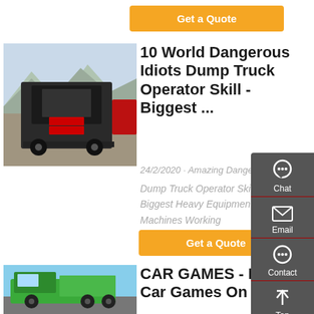[Figure (other): Orange 'Get a Quote' button at top of page]
[Figure (photo): Rear view of a red dump truck/semi-truck in a yard with mountains in the background]
10 World Dangerous Idiots Dump Truck Operator Skill - Biggest ...
24/2/2020 · Amazing Dangerous Dump Truck Operator Skill- Biggest Heavy Equipment Machines Working
[Figure (other): Orange 'Get a Quote' button below article description]
[Figure (photo): Green dump truck against blue sky]
CAR GAMES - Play Car Games On Poki
[Figure (infographic): Dark grey sidebar with Chat, Email, Contact icons and Top arrow button]